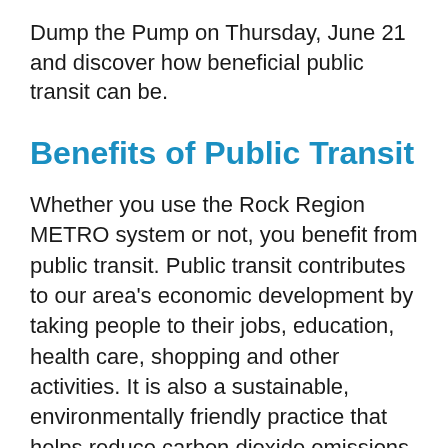Dump the Pump on Thursday, June 21 and discover how beneficial public transit can be.
Benefits of Public Transit
Whether you use the Rock Region METRO system or not, you benefit from public transit. Public transit contributes to our area's economic development by taking people to their jobs, education, health care, shopping and other activities. It is also a sustainable, environmentally friendly practice that helps reduce carbon dioxide emissions. And, it's a great way to use your commute time for